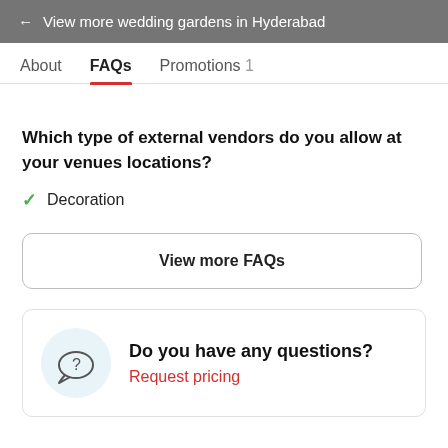← View more wedding gardens in Hyderabad
About  FAQs  Promotions 1
Which type of external vendors do you allow at your venues locations?
✓ Decoration
View more FAQs
Do you have any questions?
Request pricing